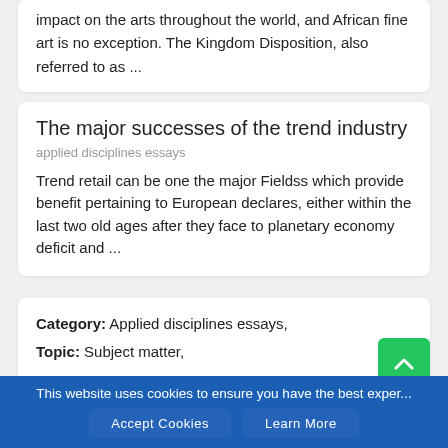impact on the arts throughout the world, and African fine art is no exception. The Kingdom Disposition, also referred to as ...
The major successes of the trend industry
applied disciplines essays
Trend retail can be one the major Fieldss which provide benefit pertaining to European declares, either within the last two old ages after they face to planetary economy deficit and ...
Category: Applied disciplines essays,
Topic: Subject matter,
Words: 4121
Published: 03.10.20
Views: 322
This website uses cookies to ensure you have the best exper...